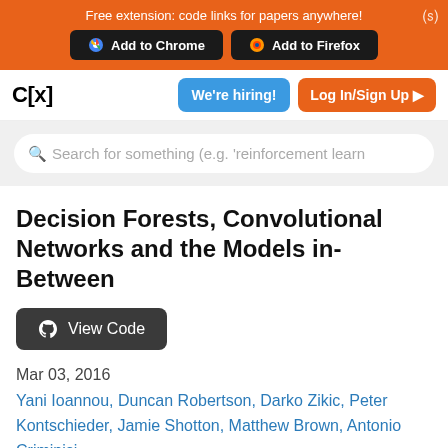Free extension: code links for papers anywhere! Add to Chrome Add to Firefox
C[x] We're hiring! Log In/Sign Up
Search for something (e.g. 'reinforcement learn
Decision Forests, Convolutional Networks and the Models in-Between
View Code
Mar 03, 2016
Yani Ioannou, Duncan Robertson, Darko Zikic, Peter Kontschieder, Jamie Shotton, Matthew Brown, Antonio Criminisi